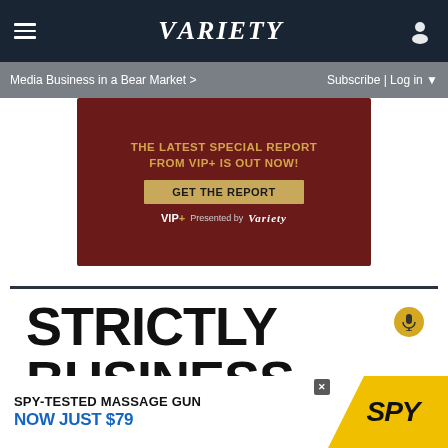Variety — navigation bar with hamburger menu and user icon
Media Business in a Bear Market >   Subscribe | Log in ▼
[Figure (advertisement): VIP+ special report advertisement banner on dark red background. Text: THE LATEST SPECIAL REPORT FROM VIP+ IS OUT NOW! GET THE REPORT. VIP+ Presented by Variety]
STRICTLY BUSINESS
[Figure (advertisement): SPY-tested massage gun advertisement. Text: SPY-TESTED MASSAGE GUN NOW JUST $79. Yellow and black SPY logo on right side.]